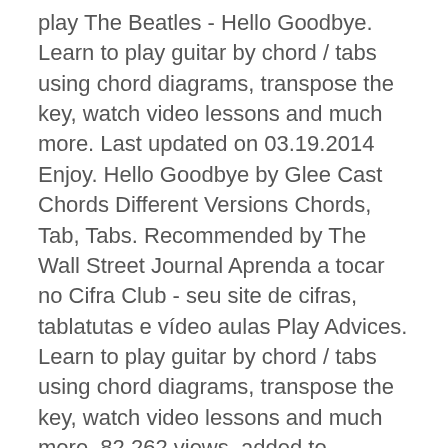play The Beatles - Hello Goodbye. Learn to play guitar by chord / tabs using chord diagrams, transpose the key, watch video lessons and much more. Last updated on 03.19.2014 Enjoy. Hello Goodbye by Glee Cast Chords Different Versions Chords, Tab, Tabs. Recommended by The Wall Street Journal Aprenda a tocar no Cifra Club - seu site de cifras, tablatutas e vídeo aulas Play Advices. Learn to play guitar by chord / tabs using chord diagrams, transpose the key, watch video lessons and much more. 82,262 views, added to favorites 492 times. BBT's Official "ThunderBassistJay" Thread! 1. bass Everybodys got something to hide except me and my monkey ver. bass chords, Scales Hello Goodbye Tabs . Play Hello Goodbye Tabs using simple video lessons Type: Tabs Chords Bass Ukulele. Hello , Goodbye Guitar Pro Tab by The Beatles learn how to play